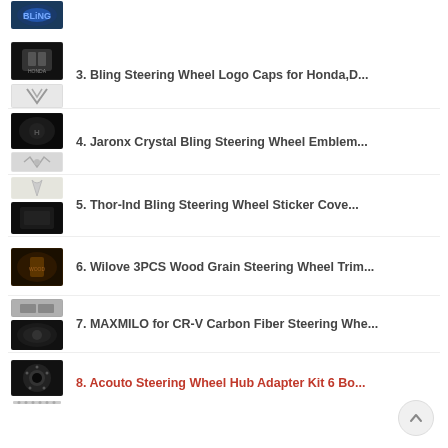3. Bling Steering Wheel Logo Caps for Honda,D...
4. Jaronx Crystal Bling Steering Wheel Emblem...
5. Thor-Ind Bling Steering Wheel Sticker Cove...
6. Wilove 3PCS Wood Grain Steering Wheel Trim...
7. MAXMILO for CR-V Carbon Fiber Steering Whe...
8. Acouto Steering Wheel Hub Adapter Kit 6 Bo...